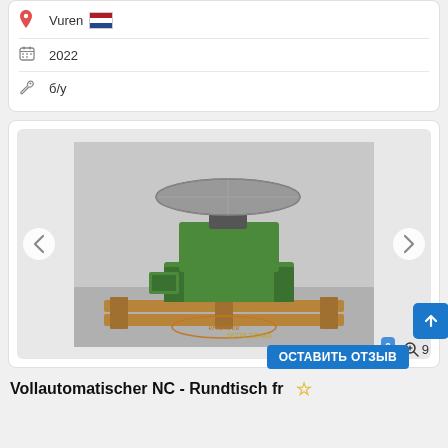Vuren [Netherlands flag]
2022
б/у
[Figure (photo): Green NC rotary table / Vollautomatischer NC-Rundtisch on wooden pallet, photographed in a warehouse. Machine has a large circular top table and green painted body.]
58776.725440
ОСТАВИТЬ ОТЗЫВ
Vollautomatischer NC - Rundtisch fr